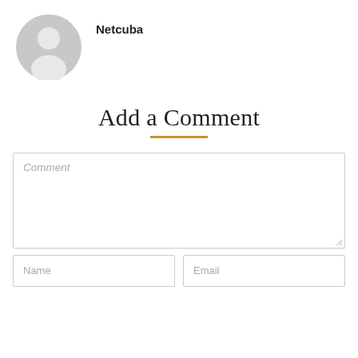[Figure (illustration): Gray circular avatar/profile icon with silhouette of a person]
Netcuba
Add a Comment
[Figure (other): Comment text area input box with italic placeholder text 'Comment' and resize handle]
[Figure (other): Name input field with placeholder 'Name']
[Figure (other): Email input field with placeholder 'Email']